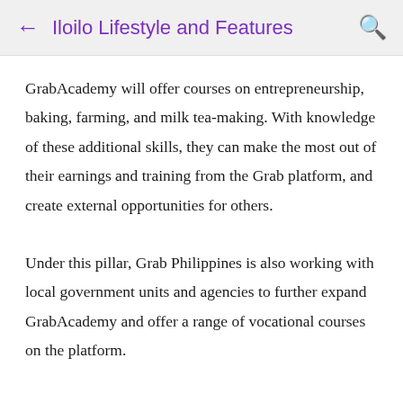← Iloilo Lifestyle and Features 🔍
GrabAcademy will offer courses on entrepreneurship, baking, farming, and milk tea-making. With knowledge of these additional skills, they can make the most out of their earnings and training from the Grab platform, and create external opportunities for others.
Under this pillar, Grab Philippines is also working with local government units and agencies to further expand GrabAcademy and offer a range of vocational courses on the platform.